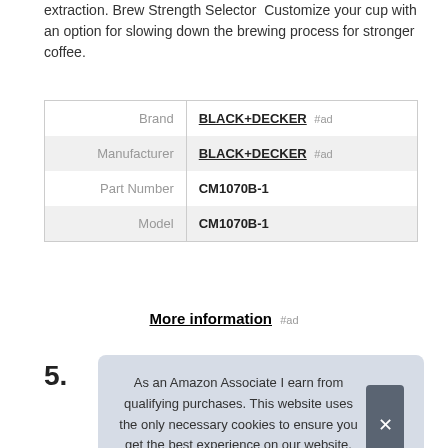extraction. Brew Strength Selector  Customize your cup with an option for slowing down the brewing process for stronger coffee.
|  |  |
| --- | --- |
| Brand | BLACK+DECKER #ad |
| Manufacturer | BLACK+DECKER #ad |
| Part Number | CM1070B-1 |
| Model | CM1070B-1 |
More information #ad
As an Amazon Associate I earn from qualifying purchases. This website uses the only necessary cookies to ensure you get the best experience on our website. More information
5.